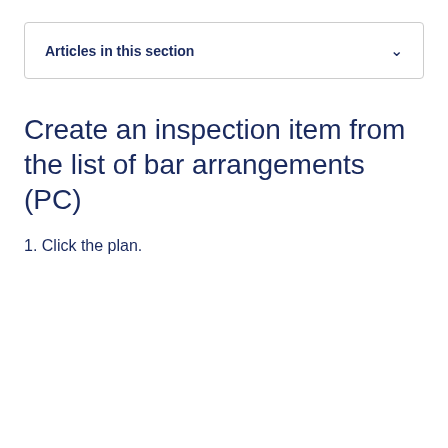Articles in this section
Create an inspection item from the list of bar arrangements (PC)
1. Click the plan.